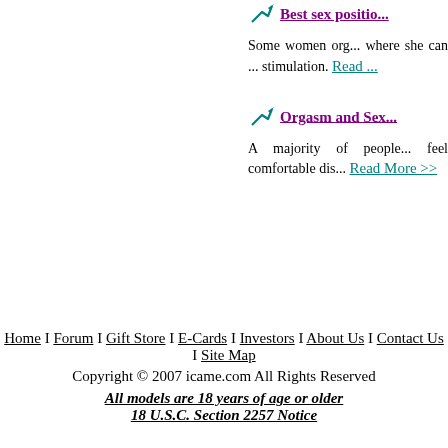Best sex positio...
Some women org... where she can ... stimulation. Read ...
Orgasm and Sex...
A majority of people... feel comfortable dis... Read More >>
Home I Forum I Gift Store I E-Cards I Investors I About Us I Contact Us I Site Map
Copyright © 2007 icame.com All Rights Reserved
All models are 18 years of age or older
18 U.S.C. Section 2257 Notice